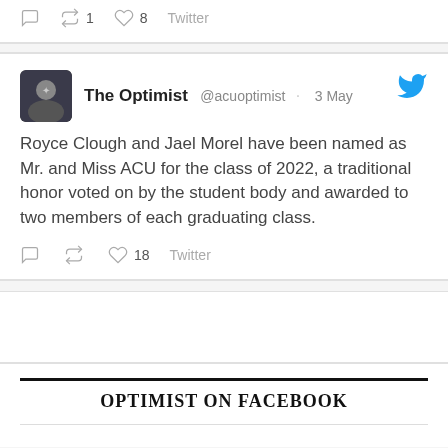1 retweet, 8 likes Twitter
The Optimist @acuoptimist · 3 May
Royce Clough and Jael Morel have been named as Mr. and Miss ACU for the class of 2022, a traditional honor voted on by the student body and awarded to two members of each graduating class.
18 likes Twitter
OPTIMIST ON FACEBOOK